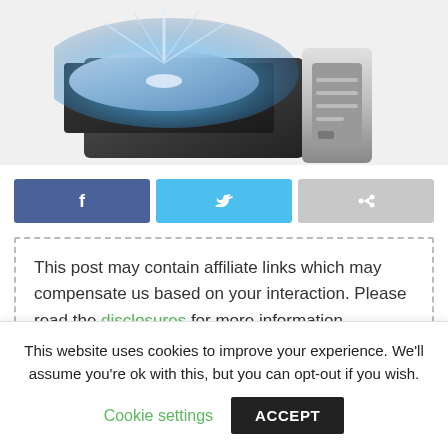[Figure (illustration): A CD/DVD optical drive illustration with a disc being ejected, glowing blue light emanating from the tray, on a light gray background.]
[Figure (infographic): Three social share buttons in a row: Facebook (dark blue with f icon), Twitter (light blue with bird icon), and a share/forward button (gray with arrow icon).]
This post may contain affiliate links which may compensate us based on your interaction. Please read the disclosures for more information.
This website uses cookies to improve your experience. We'll assume you're ok with this, but you can opt-out if you wish.
Cookie settings
ACCEPT